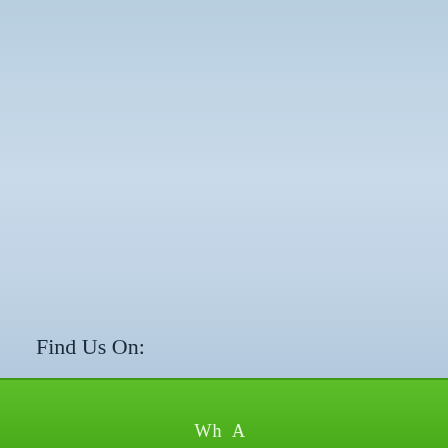[Figure (illustration): Light blue gradient background filling most of the page, simulating a sky.]
Find Us On:
[Figure (illustration): Green banner/bar at the bottom of the page with partially visible white text.]